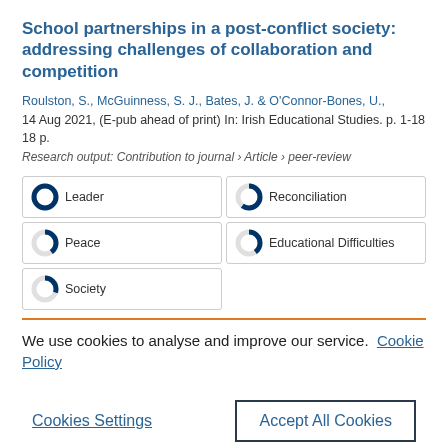School partnerships in a post-conflict society: addressing challenges of collaboration and competition
Roulston, S., McGuinness, S. J., Bates, J. & O'Connor-Bones, U., 14 Aug 2021, (E-pub ahead of print) In: Irish Educational Studies. p. 1-18 18 p.
Research output: Contribution to journal › Article › peer-review
[Figure (infographic): Five keyword badges with donut/circle icons: Leader (100%), Reconciliation (~60%), Peace (~40%), Educational Difficulties (~40%), Society (~30%)]
We use cookies to analyse and improve our service. Cookie Policy
Cookies Settings   Accept All Cookies